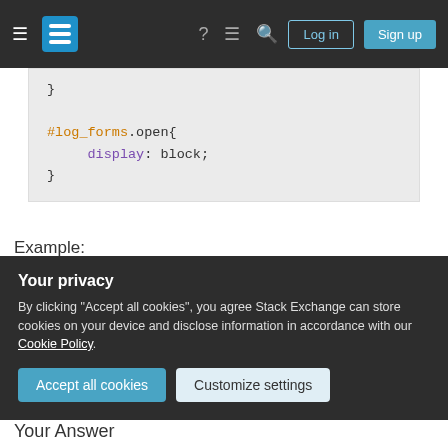Stack Exchange navigation bar with Log in and Sign up buttons
}

#log_forms.open{
    display: block;
}
Example:
http://jsfiddle.net/diywordpress/nsdbvc4h/9/
Share
Improve this answer
Follow
answered Aug 14, 2015 at 1:18
junkrig
448 ● 3 ● 11
Your privacy
By clicking "Accept all cookies", you agree Stack Exchange can store cookies on your device and disclose information in accordance with our Cookie Policy.
Accept all cookies
Customize settings
Your Answer